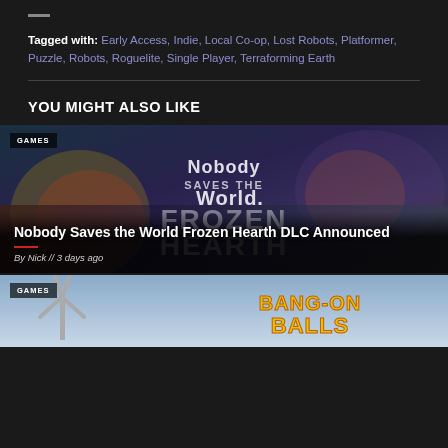Tagged with: Early Access, Indie, Local Co-op, Lost Robots, Platformer, Puzzle, Robots, Roguelite, Single Player, Terraforming Earth
YOU MIGHT ALSO LIKE
[Figure (photo): Promotional banner image for 'Nobody Saves the World Frozen Hearth DLC' with colorful cartoon characters and stylized text]
Nobody Saves the World Frozen Hearth DLC Announced
By Nick // 3 days ago
[Figure (photo): Partial promotional banner image for another game 'Bang-On Balls' with aerial/adventure theme]